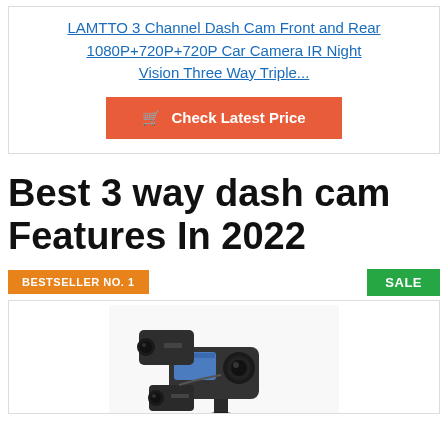LAMTTO 3 Channel Dash Cam Front and Rear 1080P+720P+720P Car Camera IR Night Vision Three Way Triple...
🛒 Check Latest Price
Best 3 way dash cam Features In 2022
BESTSELLER NO. 1
SALE
[Figure (photo): A 3-channel dash cam device shown from a front-angled view, with multiple camera lenses visible]